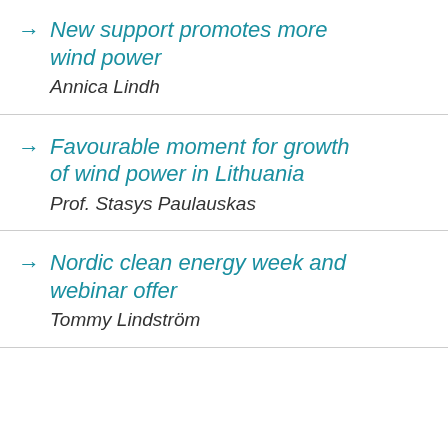New support promotes more wind power
Annica Lindh
Favourable moment for growth of wind power in Lithuania
Prof. Stasys Paulauskas
Nordic clean energy week and webinar offer
Tommy Lindström